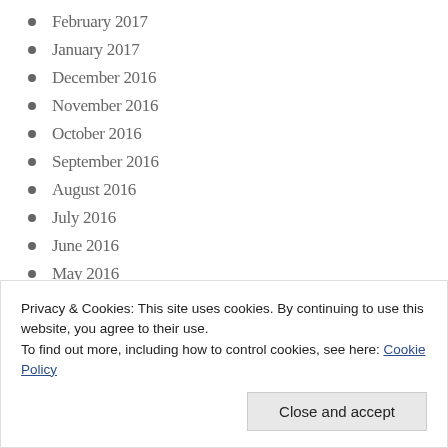February 2017
January 2017
December 2016
November 2016
October 2016
September 2016
August 2016
July 2016
June 2016
May 2016
April 2016
Privacy & Cookies: This site uses cookies. By continuing to use this website, you agree to their use.
To find out more, including how to control cookies, see here: Cookie Policy
Close and accept